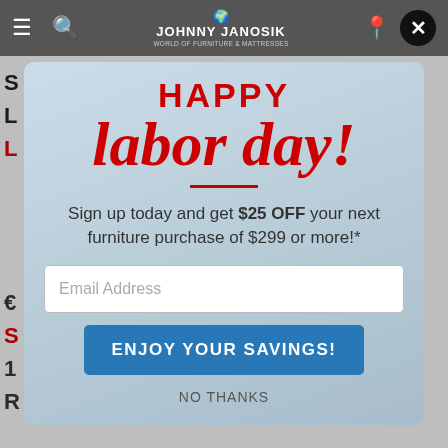JOHNNY JANOSIK WORLD OF FURNITURE & MATTRESSES
[Figure (screenshot): Johnny Janosik furniture store website popup modal for Labor Day sale promotion on a mobile browser screenshot]
HAPPY labor day!
Sign up today and get $25 OFF your next furniture purchase of $299 or more!*
Email Address
ENJOY YOUR SAVINGS!
NO THANKS